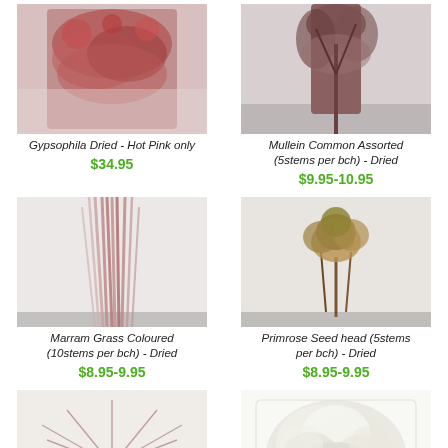[Figure (photo): Gypsophila Dried - Hot Pink only product photo]
Gypsophila Dried - Hot Pink only
$34.95
[Figure (photo): Mullein Common Assorted (5stems per bch) - Dried product photo]
Mullein Common Assorted (5stems per bch) - Dried
$9.95-10.95
[Figure (photo): Marram Grass Coloured (10stems per bch) - Dried product photo]
Marram Grass Coloured (10stems per bch) - Dried
$8.95-9.95
[Figure (photo): Primrose Seed head (5stems per bch) - Dried product photo]
Primrose Seed head (5stems per bch) - Dried
$8.95-9.95
[Figure (photo): Papyrus-like dried flower product photo]
[Figure (photo): White fluffy dried flower product photo]